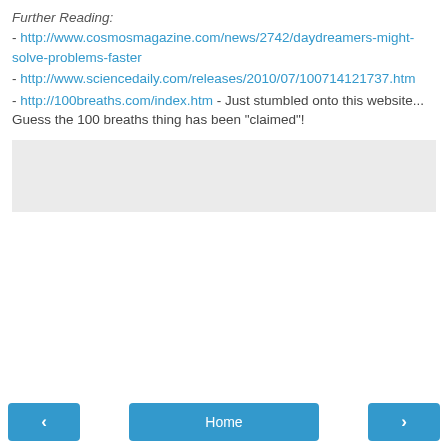Further Reading:
- http://www.cosmosmagazine.com/news/2742/daydreamers-might-solve-problems-faster
- http://www.sciencedaily.com/releases/2010/07/100714121737.htm
- http://100breaths.com/index.htm - Just stumbled onto this website... Guess the 100 breaths thing has been "claimed"!
[Figure (other): Gray empty box area]
< Home >